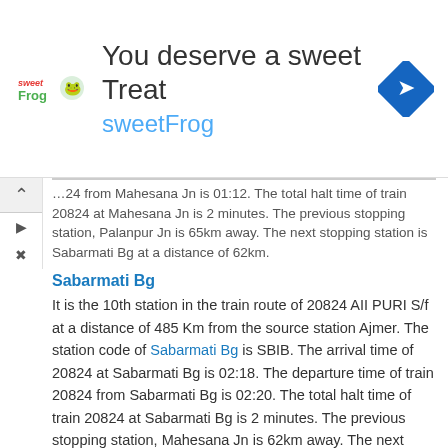[Figure (infographic): Advertisement banner for sweetFrog frozen yogurt. Shows sweetFrog logo, text 'You deserve a sweet Treat' and 'sweetFrog', with a blue diamond navigation icon on the right.]
...24 from Mahesana Jn is 01:12. The total halt time of train 20824 at Mahesana Jn is 2 minutes. The previous stopping station, Palanpur Jn is 65km away. The next stopping station is Sabarmati Bg at a distance of 62km.
Sabarmati Bg
It is the 10th station in the train route of 20824 AII PURI S/f at a distance of 485 Km from the source station Ajmer. The station code of Sabarmati Bg is SBIB. The arrival time of 20824 at Sabarmati Bg is 02:18. The departure time of train 20824 from Sabarmati Bg is 02:20. The total halt time of train 20824 at Sabarmati Bg is 2 minutes. The previous stopping station, Mahesana Jn is 62km away. The next stopping station is Ahmedabad Jn at a distance of 6km.
Ahmedabad Jn
It is the 11th station in the train route of 20824 AII PURI S/f